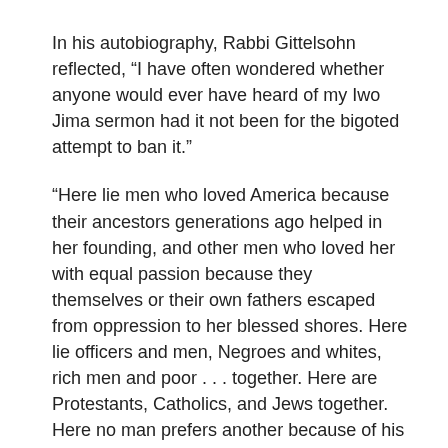In his autobiography, Rabbi Gittelsohn reflected, “I have often wondered whether anyone would ever have heard of my Iwo Jima sermon had it not been for the bigoted attempt to ban it.”
“Here lie men who loved America because their ancestors generations ago helped in her founding, and other men who loved her with equal passion because they themselves or their own fathers escaped from oppression to her blessed shores. Here lie officers and men, Negroes and whites, rich men and poor . . . together. Here are Protestants, Catholics, and Jews together. Here no man prefers another because of his faith or despises him because of his color. Here there are no quotas of how many from each group are admitted or allowed. Among these men, there is no discrimination. No prejudices. No hatred. Theirs is the highest and purest demo—